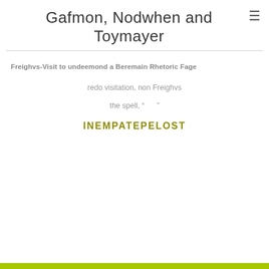Gafmon, Nodwhen and Toymayer
Freighvs-Visit to undeemond a Beremain Rhetoric Fage
redo visitation, non Freighvs
the spell, "      "
INEMPATEPELOST